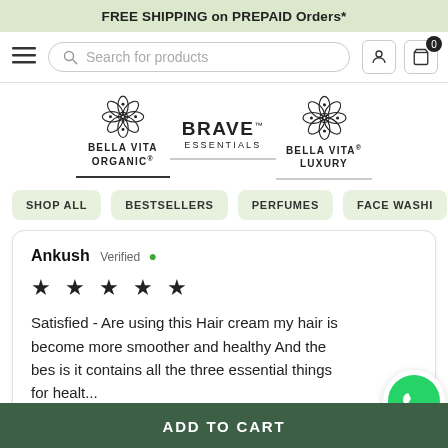FREE SHIPPING on PREPAID Orders*
Search for products
[Figure (logo): Bella Vita Organic logo with flower icon and brand name]
[Figure (logo): Brave Essentials logo with brand name]
[Figure (logo): Bella Vita Luxury logo with flower icon and brand name]
SHOP ALL
BESTSELLERS
PERFUMES
FACE WASHI
Ankush Verified ✓
★ ★ ★ ★ ★
Satisfied - Are using this Hair cream my hair is become more smoother and healthy And the bes is it contains all the three essential things for healt...
ADD TO CART